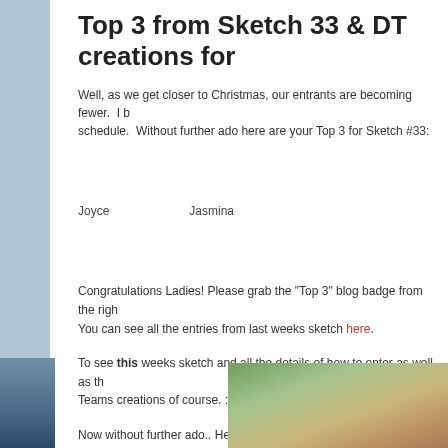Top 3 from Sketch 33 & DT creations for…
Well, as we get closer to Christmas, our entrants are becoming fewer. I … schedule.  Without further ado here are your Top 3 for Sketch #33:
Joyce    Jasmina
Congratulations Ladies! Please grab the "Top 3" blog badge from the righ… You can see all the entries from last weeks sketch here.
To see this weeks sketch and all the details of how to enter as well as th… Teams creations of course. :)
Now without further ado.. Here are the Design Teams creations for this w…
[Figure (photo): Partial Christmas photo with decorations and gifts, bottom right corner]